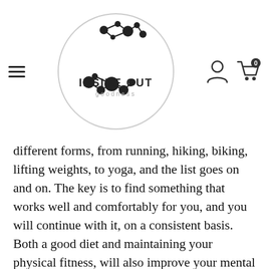Inside Out Goodness — navigation header with logo
different forms, from running, hiking, biking, lifting weights, to yoga, and the list goes on and on. The key is to find something that works well and comfortably for you, and you will continue with it, on a consistent basis. Both a good diet and maintaining your physical fitness, will also improve your mental fortitude. Additionally, fluid movement will help regulate your hormones, and hopefully get you the necessary 7-8 hours of quality sleep every night. Sleep is a critical component to being able to center your attention. If your body, mind, and spirit are not functioning well, you can't expect to win the battle of focus and concentration. I'm sure you can recall how ineffective you felt the morning,